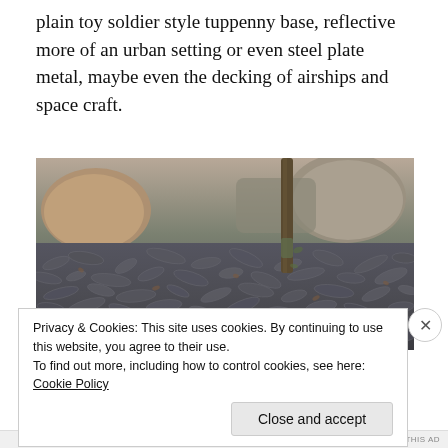plain toy soldier style tuppenny base, reflective more of an urban setting or even steel plate metal, maybe even the decking of airships and space craft.
[Figure (photo): Close-up ground-level photo showing dark slate/shale rock chips and gravel covering the ground, with larger rough stone boulders in the background and a thin tree trunk or stem visible in the upper right area. Natural outdoor garden or landscape setting.]
Privacy & Cookies: This site uses cookies. By continuing to use this website, you agree to their use.
To find out more, including how to control cookies, see here: Cookie Policy
Close and accept